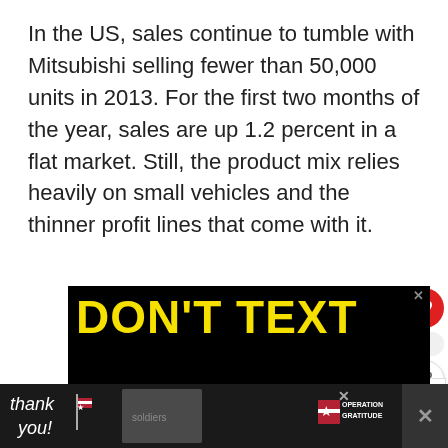In the US, sales continue to tumble with Mitsubishi selling fewer than 50,000 units in 2013. For the first two months of the year, sales are up 1.2 percent in a flat market. Still, the product mix relies heavily on small vehicles and the thinner profit lines that come with it.
[Figure (screenshot): Advertisement showing 'DON'T TEXT AND' in bold yellow and cyan text on a black background with a red cartoon car graphic]
[Figure (infographic): Bottom banner advertisement with 'thank you!' text and Operation Gratitude logo on dark background]